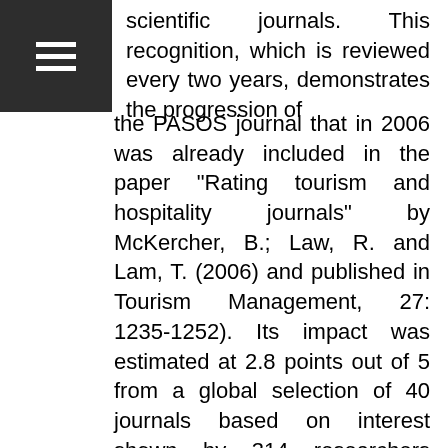[Figure (other): Dark navigation bar with hamburger menu icon (three horizontal white lines) in the top-left corner]
scientific journals. This recognition, which is reviewed every two years, demonstrates the progression of the PASOS journal that in 2006 was already included in the paper "Rating tourism and hospitality journals" by McKercher, B.; Law, R. and Lam, T. (2006) and published in Tourism Management, 27: 1235-1252). Its impact was estimated at 2.8 points out of 5 from a global selection of 40 journals based on interest shown by 314 researchers selected in the USA, UK, Hong Kong and Australia.

View indexes and databases updated in the indexing menu.